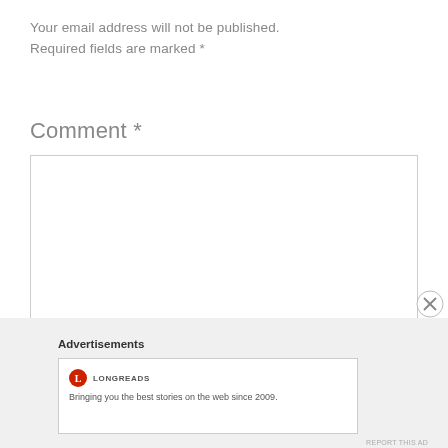Your email address will not be published. Required fields are marked *
Comment *
[Figure (screenshot): Empty comment text area input box with border]
Advertisements
[Figure (screenshot): Longreads advertisement box with logo and tagline: Bringing you the best stories on the web since 2009.]